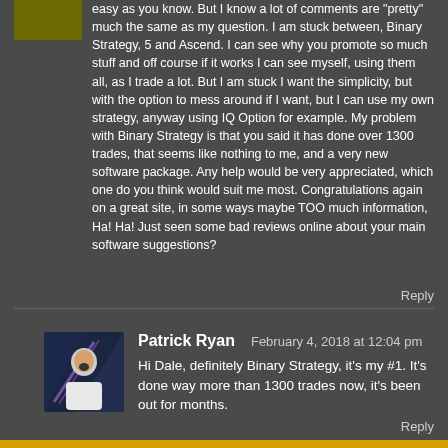easy as you know. But I know a lot of comments are "pretty" much the same as my question. I am stuck between, Binary Strategy, 5 and Ascend. I can see why you promote so much stuff and off course if it works I can see myself, using them all, as I trade a lot. But I am stuck I want the simplicity, but with the option to mess around if I want, but I can use my own strategy, anyway using IQ Option for example. My problem with Binary Strategy is that you said it has done over 1300 trades, that seems like nothing to me, and a very new software package. Any help would be very appreciated, which one do you think would suit me most. Congratulations again on a great site, in some ways maybe TOO much information, Ha! Ha! Just seen some bad reviews online about your main software suggestions?
Reply
Patrick Ryan  February 4, 2018 at 12:04 pm
Hi Dale, definitely Binary Strategy, it's my #1. It's done way more than 1300 trades now, it's been out for months.
Reply